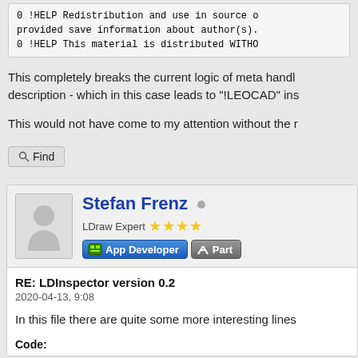[Figure (screenshot): Code block showing LDraw file header lines with !HELP redistribution and author information]
This completely breaks the current logic of meta handling description - which in this case leads to "!LEOCAD" ins
This would not have come to my attention without the r
[Figure (screenshot): Find button with magnifying glass icon]
[Figure (screenshot): User profile section for Stefan Frenz, LDraw Expert with 4 stars, App Developer badge]
RE: LDInspector version 0.2
2020-04-13, 9:08
In this file there are quite some more interesting lines
Code: